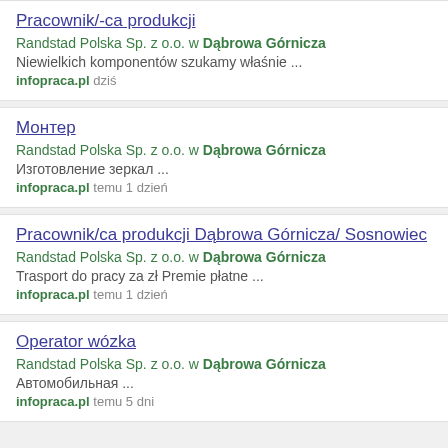Pracownik/-ca produkcji
Randstad Polska Sp. z o.o. w Dąbrowa Górnicza
Niewielkich komponentów szukamy właśnie ...
infopraca.pl dziś
Монтер
Randstad Polska Sp. z o.o. w Dąbrowa Górnicza
Изготовление зеркал ...
infopraca.pl temu 1 dzień
Pracownik/ca produkcji Dąbrowa Górnicza/ Sosnowiec
Randstad Polska Sp. z o.o. w Dąbrowa Górnicza
Trasport do pracy za zł Premie płatne ...
infopraca.pl temu 1 dzień
Operator wózka
Randstad Polska Sp. z o.o. w Dąbrowa Górnicza
Автомобильная ...
infopraca.pl temu 5 dni